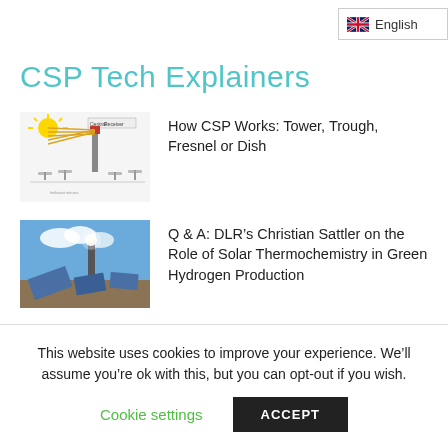English
CSP Tech Explainers
[Figure (illustration): Diagram of a CSP tower/central receiver solar power plant with heliostat mirrors reflecting sunlight toward a central receiver tower. Labeled 'Central Receiver'.]
How CSP Works: Tower, Trough, Fresnel or Dish
[Figure (photo): Photograph of a concentrating solar power installation with large mirrors/heliostats and a central tower against a blue sky with clouds.]
Q & A: DLR’s Christian Sattler on the Role of Solar Thermochemistry in Green Hydrogen Production
This website uses cookies to improve your experience. We’ll assume you’re ok with this, but you can opt-out if you wish.
Cookie settings
ACCEPT